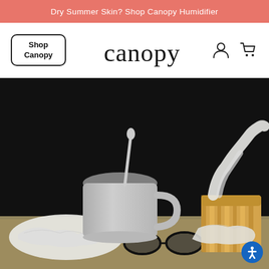Dry Summer Skin? Shop Canopy Humidifier
[Figure (screenshot): Website navigation bar with Shop Canopy button (bordered rectangle), Canopy handwritten logo in center, user icon and shopping cart icon on right]
[Figure (photo): Dark background photo showing a white ceramic mug with spoon, a box of tissues with tissues spilling out, glasses, and crumpled tissues on a woven surface — illness/sick day scene]